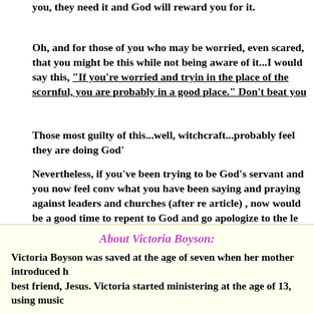you, they need it and God will reward you for it.
Oh, and for those of you who may be worried, even scared, that you might be this while not being aware of it...I would say this, "If you're worried and trying in the place of the scornful, you are probably in a good place." Don't beat you
Those most guilty of this...well, witchcraft...probably feel they are doing God'
Nevertheless, if you've been trying to be God's servant and you now feel conv what you have been saying and praying against leaders and churches (after re article) , now would be a good time to repent to God and go apologize to the le only if they know you have been doing it...otherwise, just repent to God and s the very people God died for.)
Blessings,
Steve Shultz
THE ELIJAH LIST
About Victoria Boyson:
Victoria Boyson was saved at the age of seven when her mother introduced h best friend, Jesus. Victoria started ministering at the age of 13, using music